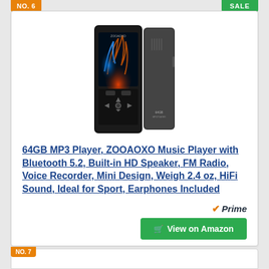NO. 6
SALE
[Figure (photo): ZOOAOXO 64GB MP3 Player device shown front and back, black aluminum body with colorful screen display showing a flame/smoke graphic, navigation buttons, and 64GB label]
64GB MP3 Player, ZOOAOXO Music Player with Bluetooth 5.2, Built-in HD Speaker, FM Radio, Voice Recorder, Mini Design, Weigh 2.4 oz, HiFi Sound, Ideal for Sport, Earphones Included
Prime
View on Amazon